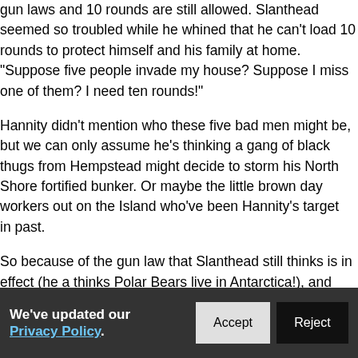Never mind that a Federal court overturned that part of NY State's gun laws and 10 rounds are still allowed. Slanthead seemed so troubled while he whined that he can't load 10 rounds to protect himself and his family at home. "Suppose five people invade my house? Suppose I miss one of them? I need ten rounds!"
Hannity didn't mention who these five bad men might be, but we can only assume he's thinking a gang of black thugs from Hempstead might decide to storm his North Shore fortified bunker. Or maybe the little brown day workers out on the Island who've been Hannity's target in the past.
So because of the gun law that Slanthead still thinks is in effect (he also thinks Polar Bears live in Antarctica!), and taxes, Hannity said: "Governor, I'm leaving just as soon as I can. And I'm taking my money with me. I'm going to Florida or Texas where there are no taxes!"
Slanthead said his move will leave many others unemployed and wondered how Cuomo will find work for them.
We've updated our Privacy Policy.